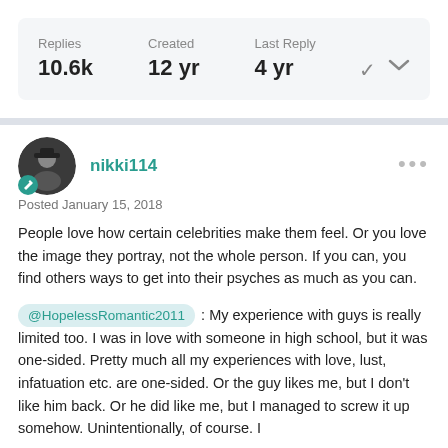| Replies | Created | Last Reply |
| --- | --- | --- |
| 10.6k | 12 yr | 4 yr |
nikki114
Posted January 15, 2018
People love how certain celebrities make them feel.  Or you love the image they portray, not the whole person.  If you can, you find others ways to get into their psyches as much as you can.
@HopelessRomantic2011 :  My experience with guys is really limited too.  I was in love with someone in high school, but it was one-sided.  Pretty much all my experiences with love, lust, infatuation etc. are one-sided.  Or the guy likes me, but I don't like him back.   Or he did like me, but I managed to screw it up somehow.  Unintentionally, of course.  I